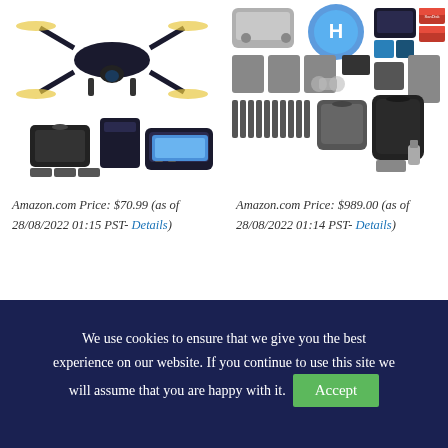[Figure (photo): Drone product image showing a foldable drone with remote controller, carrying case, batteries, and accessories on white background]
Amazon.com Price: $70.99 (as of 28/08/2022 01:15 PST- Details)
[Figure (photo): Drone bundle product image showing DJI Mini drone with remote controller, propellers, batteries, landing pad, backpack, SD cards, and accessories on white background]
Amazon.com Price: $989.00 (as of 28/08/2022 01:14 PST- Details)
We use cookies to ensure that we give you the best experience on our website. If you continue to use this site we will assume that you are happy with it. Accept